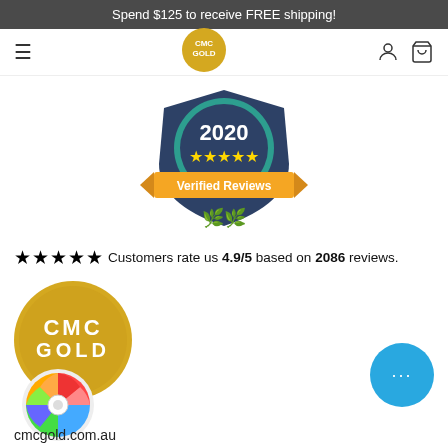Spend $125 to receive FREE shipping!
[Figure (logo): CMC Gold circular logo in gold/yellow]
[Figure (logo): 2020 Verified Reviews badge with teal and navy shield design, five gold stars, and laurel wreath]
★★★★★ Customers rate us 4.9/5 based on 2086 reviews.
[Figure (logo): Large CMC Gold circular logo in gold/yellow with white text]
[Figure (other): Colorful spinning wheel widget]
[Figure (other): Blue chat bubble button with ellipsis]
cmcgold.com.au
Military Road, Broadmeadows 3047, Melbourne, Australia